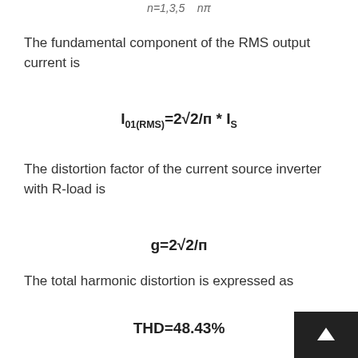The fundamental component of the RMS output current is
The distortion factor of the current source inverter with R-load is
The total harmonic distortion is expressed as